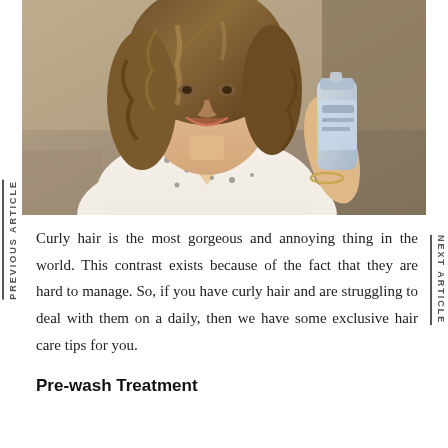[Figure (photo): A smiling young woman with long wavy/curly brown hair, wearing a white floral spaghetti-strap top, holding a hair product spray can in her right hand. She is outdoors in natural light.]
Curly hair is the most gorgeous and annoying thing in the world. This contrast exists because of the fact that they are hard to manage. So, if you have curly hair and are struggling to deal with them on a daily, then we have some exclusive hair care tips for you.
Pre-wash Treatment